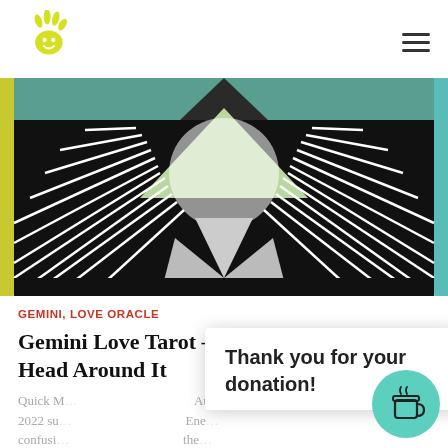Logo and navigation header
[Figure (illustration): Abstract geometric artwork with black and white radiating lines, teal/green top section, and light grey/white triangular shapes in the center, framed by a yellow border on left and teal on right]
GEMINI, LOVE ORACLE
Gemini Love Tarot – Still Wrapping Your Head Around It
Quick M...  August... 2022 su... Ene... confusi... the... below. Thank you for visiting! I bow down to the light
Thank you for your donation!